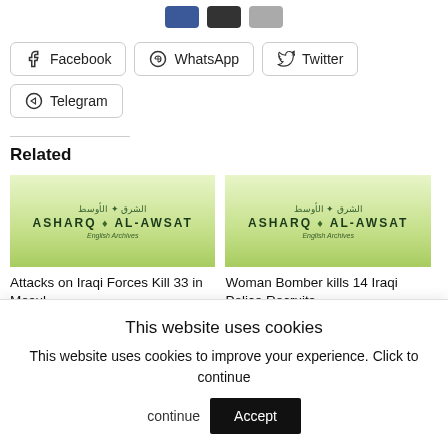[Figure (other): Social share icon buttons at top (Facebook, Twitter, email)]
Facebook
WhatsApp
Twitter
Telegram
Related
[Figure (photo): Asharq Al-Awsat English Archives placeholder image for article: Attacks on Iraqi Forces Kill 33 in Mosul]
Attacks on Iraqi Forces Kill 33 in Mosul
June 27, 2005
[Figure (photo): Asharq Al-Awsat English Archives placeholder image for article: Woman Bomber kills 14 Iraqi Police Recruits]
Woman Bomber kills 14 Iraqi Police Recruits
April 10, 2007
This website uses cookies
This website uses cookies to improve your experience. Click to continue
Accept